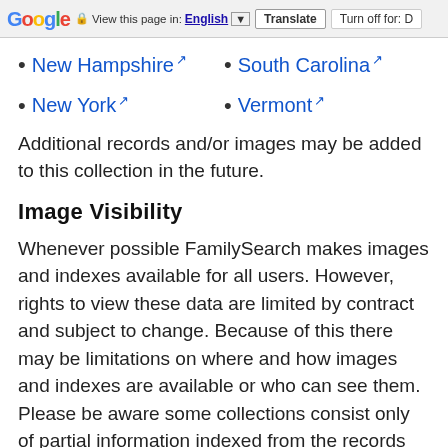Google | View this page in: English [▼] | Translate | Turn off for: D
New Hampshire ↗
South Carolina ↗
New York ↗
Vermont ↗
Additional records and/or images may be added to this collection in the future.
Image Visibility
Whenever possible FamilySearch makes images and indexes available for all users. However, rights to view these data are limited by contract and subject to change. Because of this there may be limitations on where and how images and indexes are available or who can see them. Please be aware some collections consist only of partial information indexed from the records and do not contain any images. For additional information about